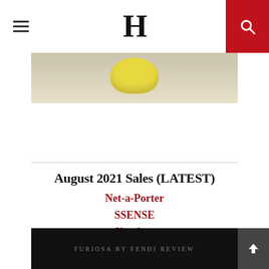H
[Figure (photo): Partial view of a yellow rounded object on a light beige/cream background]
August 2021 Sales (LATEST)
Net-a-Porter
SSENSE
Shopbop
[Figure (photo): Dark/black background with text: FURIOSA BY FENDI REVIEW]